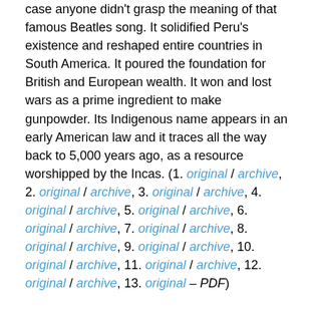case anyone didn't grasp the meaning of that famous Beatles song. It solidified Peru's existence and reshaped entire countries in South America. It poured the foundation for British and European wealth. It won and lost wars as a prime ingredient to make gunpowder. Its Indigenous name appears in an early American law and it traces all the way back to 5,000 years ago, as a resource worshipped by the Incas. (1. original / archive, 2. original / archive, 3. original / archive, 4. original / archive, 5. original / archive, 6. original / archive, 7. original / archive, 8. original / archive, 9. original / archive, 10. original / archive, 11. original / archive, 12. original / archive, 13. original – PDF)
Today this product is exported by Africa and Asia and it can fetch as much as $350USD per ton, or $2,400USD